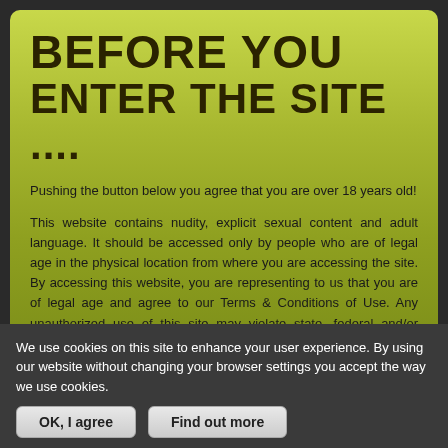BEFORE YOU ENTER THE SITE ....
Pushing the button below you agree that you are over 18 years old!
This website contains nudity, explicit sexual content and adult language. It should be accessed only by people who are of legal age in the physical location from where you are accessing the site. By accessing this website, you are representing to us that you are of legal age and agree to our Terms & Conditions of Use. Any unauthorized use of this site may violate state, federal and/or foreign law.
While EscortBargains does not create nor produce any content listed on our ads, all of our advertisements must comply with our age and content standards. All advertiser content contained in this website are provided to EscortBargains.com by individuals for the purposes of paid advertisements and are the sole responsibility of the individual advertisers. EscortBargains assumes no
We use cookies on this site to enhance your user experience. By using our website without changing your browser settings you accept the way we use cookies.
OK, I agree    Find out more